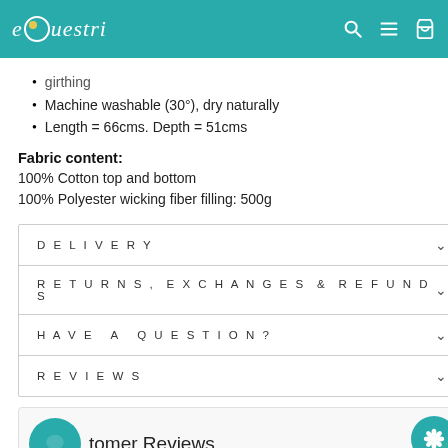eQuestri — navigation header with search, menu, and bag icons
girthing
Machine washable (30°), dry naturally
Length = 66cms. Depth = 51cms
Fabric content:
100% Cotton top and bottom
100% Polyester wicking fiber filling: 500g
| Section |  |
| --- | --- |
| DELIVERY | v |
| RETURNS, EXCHANGES & REFUNDS | v |
| HAVE A QUESTION? | v |
| REVIEWS | v |
Customer Reviews
Be the first to write a review